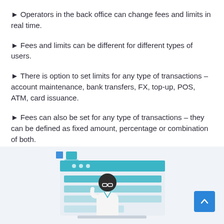Operators in the back office can change fees and limits in real time.
Fees and limits can be different for different types of users.
There is option to set limits for any type of transactions – account maintenance, bank transfers, FX, top-up, POS, ATM, card issuance.
Fees can also be set for any type of transactions – they can be defined as fixed amount, percentage or combination of both.
[Figure (illustration): Illustration of a person working at a back office desk with computer screens showing data/panels, in a teal and white color scheme. A back-to-top button (blue square with upward arrow) is visible in the bottom right corner.]